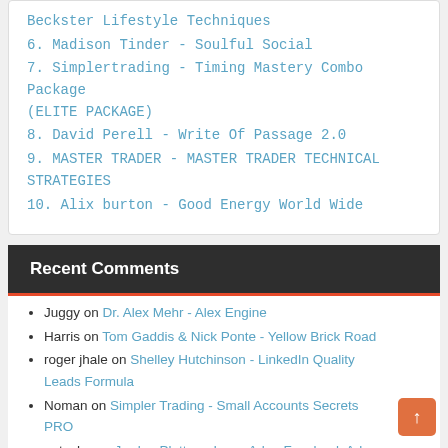Beckster Lifestyle Techniques
6. Madison Tinder - Soulful Social
7. Simplertrading - Timing Mastery Combo Package (ELITE PACKAGE)
8. David Perell - Write Of Passage 2.0
9. MASTER TRADER - MASTER TRADER TECHNICAL STRATEGIES
10. Alix burton - Good Energy World Wide
Recent Comments
Juggy on Dr. Alex Mehr - Alex Engine
Harris on Tom Gaddis & Nick Ponte - Yellow Brick Road
roger jhale on Shelley Hutchinson - LinkedIn Quality Leads Formula
Noman on Simpler Trading - Small Accounts Secrets PRO
patasha on Jordan Platten - LearnAds - Facebook Ads